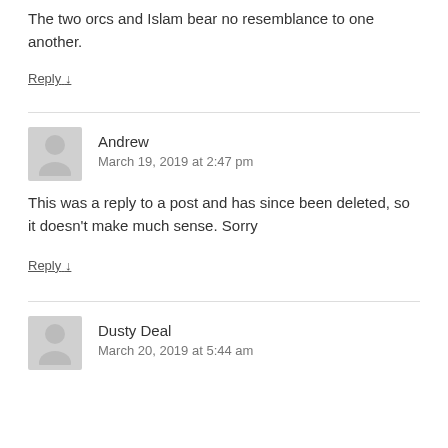The two orcs and Islam bear no resemblance to one another.
Reply ↓
Andrew
March 19, 2019 at 2:47 pm
This was a reply to a post and has since been deleted, so it doesn't make much sense. Sorry
Reply ↓
Dusty Deal
March 20, 2019 at 5:44 am